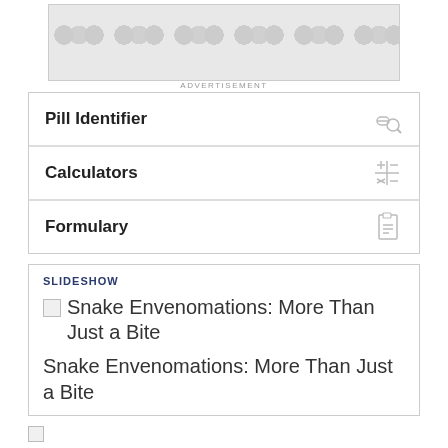[Figure (other): Advertisement banner with grey pebble/dot pattern background]
ADVERTISEMENT
Pill Identifier
Calculators
Formulary
SLIDESHOW
Snake Envenomations: More Than Just a Bite
Snake Envenomations: More Than Just a Bite